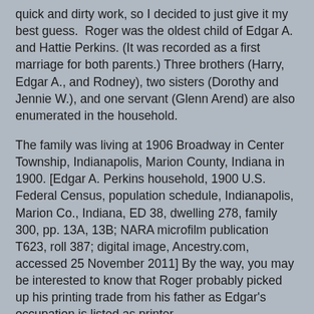quick and dirty work, so I decided to just give it my best guess.  Roger was the oldest child of Edgar A. and Hattie Perkins. (It was recorded as a first marriage for both parents.) Three brothers (Harry, Edgar A., and Rodney), two sisters (Dorothy and Jennie W.), and one servant (Glenn Arend) are also enumerated in the household.
The family was living at 1906 Broadway in Center Township, Indianapolis, Marion County, Indiana in 1900. [Edgar A. Perkins household, 1900 U.S. Federal Census, population schedule, Indianapolis, Marion Co., Indiana, ED 38, dwelling 278, family 300, pp. 13A, 13B; NARA microfilm publication T623, roll 387; digital image, Ancestry.com, accessed 25 November 2011] By the way, you may be interested to know that Roger probably picked up his printing trade from his father as Edgar's occupation is listed as printer.
It was now time to find Edgar's parents in the 1880 census. I found Edgar living in the Ellsbury Perkins household at 104 English Avenue in Indianapolis. [Ellsbury Perkins household, 1880 U.S. Federal Census, population schedule, Indianapolis, Marion Co., Indiana, ED 126, p. 622B; NARA